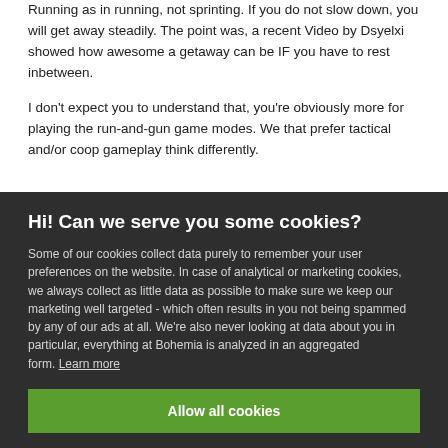Running as in running, not sprinting. If you do not slow down, you will get away steadily. The point was, a recent Video by Dsyelxi showed how awesome a getaway can be IF you have to rest inbetween.
I don't expect you to understand that, you're obviously more for playing the run-and-gun game modes. We that prefer tactical and/or coop gameplay think differently.
Hi! Can we serve you some cookies?
Some of our cookies collect data purely to remember your user preferences on the website. In case of analytical or marketing cookies, we always collect as little data as possible to make sure we keep our marketing well targeted - which often results in you not being spammed by any of our ads at all. We're also never looking at data about you in particular, everything at Bohemia is analyzed in an aggregated form. Learn more
Allow all cookies
I want more options